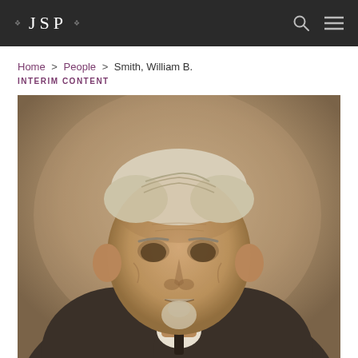JSP
Home > People > Smith, William B.
INTERIM CONTENT
[Figure (photo): Sepia-toned historical portrait photograph of William B. Smith, an elderly man with white hair and a goatee beard, wearing a dark suit with a white collar, looking slightly upward.]